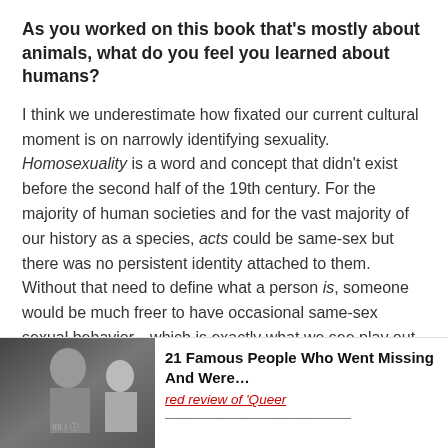As you worked on this book that's mostly about animals, what do you feel you learned about humans?
I think we underestimate how fixated our current cultural moment is on narrowly identifying sexuality. Homosexuality is a word and concept that didn't exist before the second half of the 19th century. For the majority of human societies and for the vast majority of our history as a species, acts could be same-sex but there was no persistent identity attached to them. Without that need to define what a person is, someone would be much freer to have occasional same-sex sexual behavior—which is exactly what we see play out in species after species in the wild.
[Figure (photo): Black and white photo of a smiling man in a basketball jersey, with another person partly visible beside him. Appears to be an advertisement or article thumbnail for '21 Famous People Who Went Missing And Were...' with a subtitle referencing a 'red review of Queer']